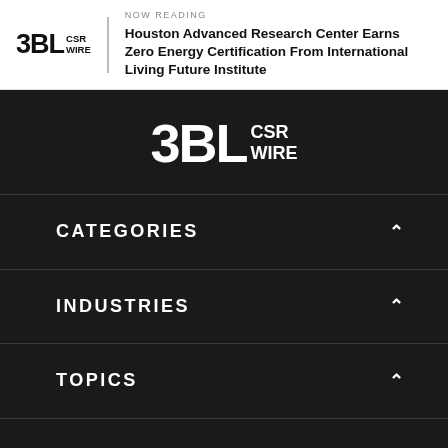NOW READING
Houston Advanced Research Center Earns Zero Energy Certification From International Living Future Institute
[Figure (logo): 3BL CSR WIRE logo in dark background]
CATEGORIES
INDUSTRIES
TOPICS